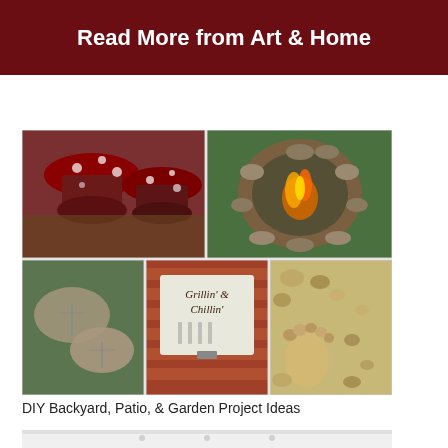Read More from Art & Home
[Figure (photo): Collage of DIY backyard project photos: top row shows red tire mushroom stools on left and a stone fire pit with flames on right; bottom row shows leaf-shaped stepping stones on left, a Grillin & Chillin sign on a brick wall in the middle, and stone rock feet art on right]
DIY Backyard, Patio, & Garden Project Ideas
[Figure (photo): Bottom portion of a bright white interior room with recessed ceiling lights and white walls/ceiling]